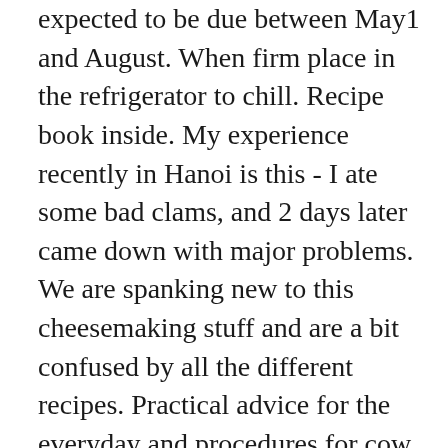expected to be due between May1 and August. When firm place in the refrigerator to chill. Recipe book inside. My experience recently in Hanoi is this - I ate some bad clams, and 2 days later came down with major problems. We are spanking new to this cheesemaking stuff and are a bit confused by all the different recipes. Practical advice for the everyday and procedures for cow emergencies. She was delighted. I have not made junket in years.Does anyone still make it? If you're going to make cheese/use rennet often, I'd highly suggest a liquid rennet (purchased online). Find detailed information for each type of rennet on its product page and even more information about rennet in our learn and resource sections. 4.1